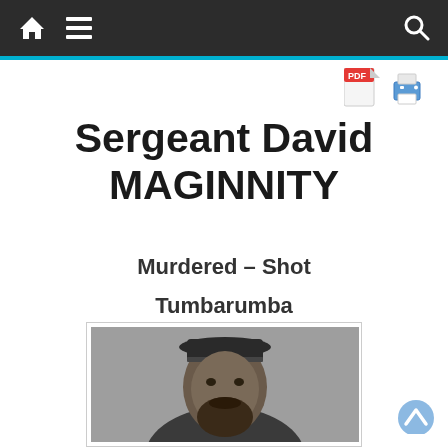Navigation bar with home, menu, and search icons
Sergeant David MAGINNITY
Murdered – Shot
Tumbarumba
24 June, 1864
[Figure (photo): Black and white portrait photograph of Sergeant David Maginnity, showing a man with a beard and hat]